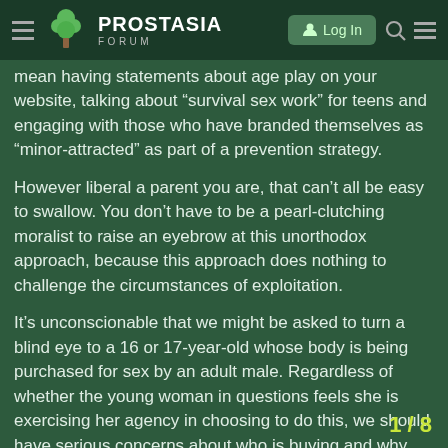PROSTASIA FORUM | Log In
mean having statements about age play on your website, talking about “survival sex work” for teens and engaging with those who have branded themselves as “minor-attracted” as part of a prevention strategy.
However liberal a parent you are, that can’t all be easy to swallow. You don’t have to be a pearl-clutching moralist to raise an eyebrow at this unorthodox approach, because this approach does nothing to challenge the circumstances of exploitation.
It’s unconscionable that we might be asked to turn a blind eye to a 16 or 17-year-old whose body is being purchased for sex by an adult male. Regardless of whether the young woman in questions feels she is exercising her agency in choosing to do this, we should have serious concerns about who is buying and why. As adults, our job is to safeguard young people, not to validate all of their choices. That is why they are young people, with guardians, and not independent adult child protection charity should be putting th
1 / 8